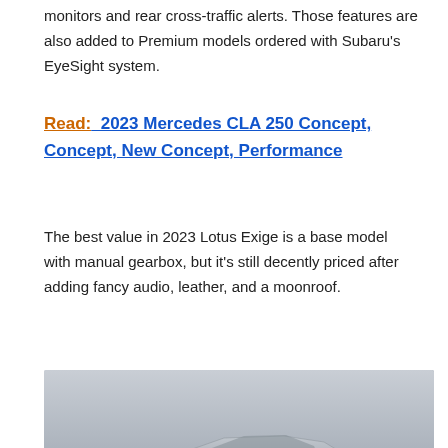monitors and rear cross-traffic alerts. Those features are also added to Premium models ordered with Subaru's EyeSight system.
Read:  2023 Mercedes CLA 250 Concept, Concept, New Concept, Performance
The best value in 2023 Lotus Exige is a base model with manual gearbox, but it's still decently priced after adding fancy audio, leather, and a moonroof.
[Figure (photo): Silver Lotus sports car (Lotus Emira or similar) shown in side profile on a grey gradient background]